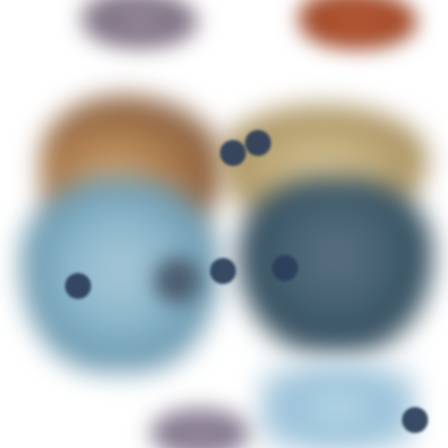[Figure (photo): A blurred lifestyle/fashion product collage showing various clothing and accessories items arranged in a grid: top row has partial dark accessory and rust/brown bag, second row shows tan desert boots on left and a beige sun hat on right with numbered circles, third row shows a light blue t-shirt with chest pocket on left and a dark navy/slate blue t-shirt on right with numbered circles, bottom area shows a partial light blue item on the right with a numbered circle and a partial dark item at the bottom center.]